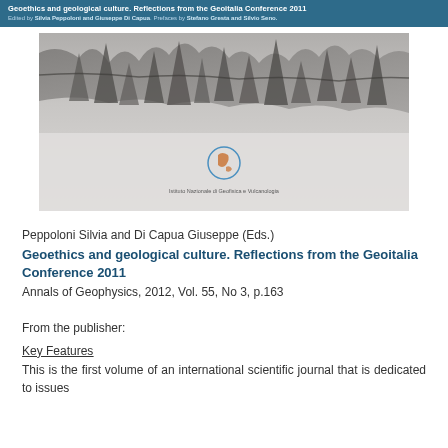Geoethics and geological culture. Reflections from the Geoitalia Conference 2011
Edited by Silvia Peppoloni and Giuseppe Di Capua. Prefaces by Stefano Gresta and Silvio Seno.
[Figure (photo): Book cover image showing a close-up of rocky or geological formation with the INGV (Istituto Nazionale di Geofisica e Vulcanologia) logo in the center]
Peppoloni Silvia and Di Capua Giuseppe (Eds.)
Geoethics and geological culture. Reflections from the Geoitalia Conference 2011
Annals of Geophysics, 2012, Vol. 55, No 3, p.163
From the publisher:
Key Features
This is the first volume of an international scientific journal that is dedicated to issues